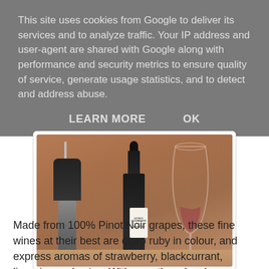This site uses cookies from Google to deliver its services and to analyze traffic. Your IP address and user-agent are shared with Google along with performance and security metrics to ensure quality of service, generate usage statistics, and to detect and address abuse.
LEARN MORE    OK
[Figure (photo): A wine bottle (labeled Gevrey-Chambertin or similar Burgundy) alongside a Coravin wine preservation device on the left and an empty wine glass on the right, all resting on a wooden surface in a warm-toned cellar setting.]
Made from 100% Pinot Noir grapes, these fine wines at their best are deep ruby in colour, and express aromas of strawberry, blackcurrant, liquorice and spice. With age, they develop power